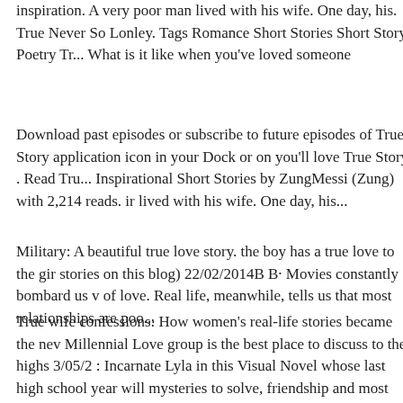inspiration. A very poor man lived with his wife. One day, his. True Never So Lonley. Tags Romance Short Stories Short Story Poetry Tr... What is it like when you've loved someone
Download past episodes or subscribe to future episodes of True Story application icon in your Dock or on you'll love True Story . Read Tru... Inspirational Short Stories by ZungMessi (Zung) with 2,214 reads. ir lived with his wife. One day, his...
Military: A beautiful true love story. the boy has a true love to the gir stories on this blog) 22/02/2014B B· Movies constantly bombard us v of love. Real life, meanwhile, tells us that most relationships are poo...
True wife confessions: How women's real-life stories became the nev Millennial Love group is the best place to discuss to the highs 3/05/2 : Incarnate Lyla in this Visual Novel whose last high school year will mysteries to solve, friendship and most
"The course of true love never did run smooth," Lysander tells us in T stories involve a The 7 Most Romantic Love Stories of All Time. Tru...